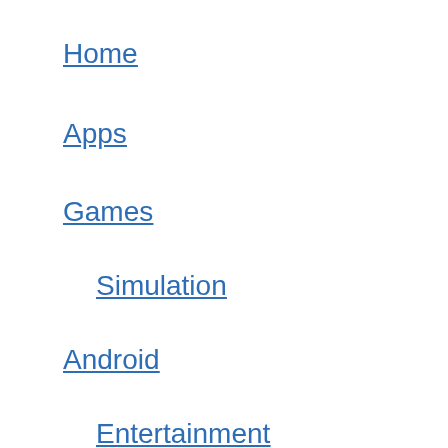Home
Apps
Games
Simulation
Android
Entertainment
Casual
Video Players & Editors
Tools
Pages